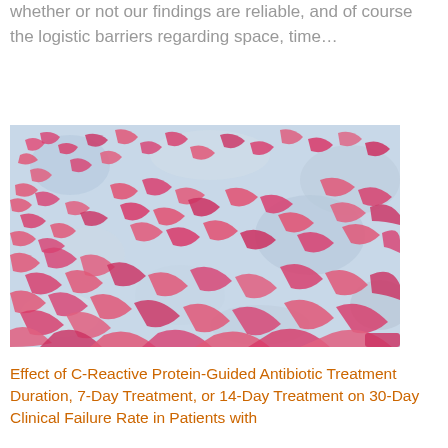whether or not our findings are reliable, and of course the logistic barriers regarding space, time…
[Figure (photo): Microscopy image showing pink-stained bacterial or tissue culture on a light blue background, viewed at high magnification.]
Effect of C-Reactive Protein-Guided Antibiotic Treatment Duration, 7-Day Treatment, or 14-Day Treatment on 30-Day Clinical Failure Rate in Patients with